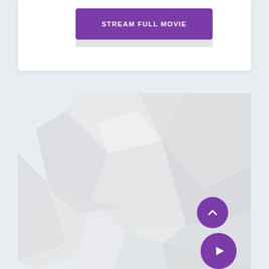[Figure (screenshot): A white card at the top containing a purple 'STREAM FULL MOVIE' button with a subtitle bar beneath it.]
[Figure (illustration): A low-poly geometric background pattern made of light grey and white polygonal shapes, filling the lower section of the page. Two purple circular UI buttons are visible in the bottom-right: a scroll-up arrow button and a play button.]